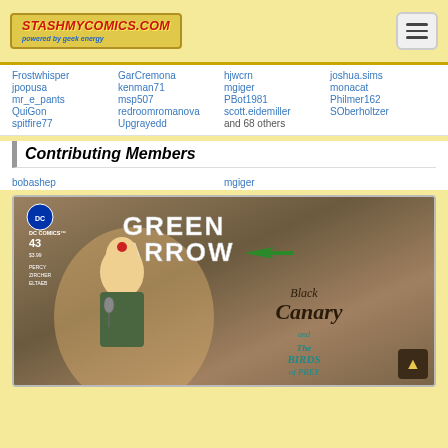StashMyComics.com — powered by geek energy
Frostwhisper
GarCremona
hjwcrn
joshua.sims
jpopusa
kenman71
mgiger
monacat
mr_e_pants
msp507
PBot1981
Philmer162
QuiGon
redroomromanova
scott.eidemiller
SOberholtzer
spitfire77
Upgrayedd
and 68 others
Contributing Members
bobashep
mgiger
[Figure (illustration): Green Arrow #43 comic book cover featuring Black Canary and the Birds of Prey. DC Comics logo top left, issue number 43, price $3.99. Credits: Percy, Zircher, Eltaeb. Large stylized 'GREEN ARROW' title text at top with arrow graphic. Center-right features 'Black Canary and The Birds of Prey' text. A blonde woman in vintage style outfit holding a microphone is depicted.]